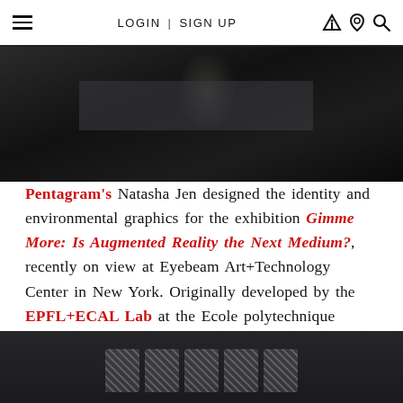LOGIN | SIGN UP
[Figure (photo): Dark exhibition room with a large rectangular object/installation on the floor under a spotlight, viewed from above]
Pentagram's Natasha Jen designed the identity and environmental graphics for the exhibition Gimme More: Is Augmented Reality the Next Medium?, recently on view at Eyebeam Art+Technology Center in New York. Originally developed by the EPFL+ECAL Lab at the Ecole polytechnique fédérale de Lausanne in Switzerland, the exhibition showcased seven installations by artists who use augmented reality (AR) to tell stories in new ways.
[Figure (photo): Dark exhibition space with large stylized text/logo displayed on a wall, showing fragmented letter forms in light against a dark background]